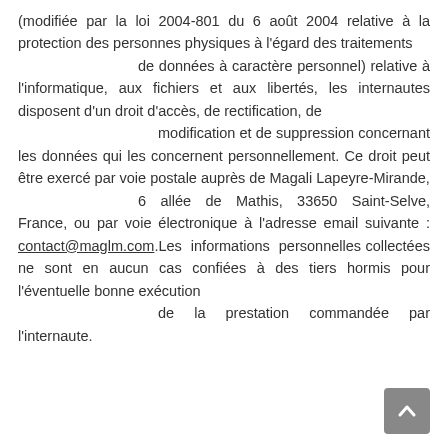(modifiée par la loi 2004-801 du 6 août 2004 relative à la protection des personnes physiques à l'égard des traitements de données à caractère personnel) relative à l'informatique, aux fichiers et aux libertés, les internautes disposent d'un droit d'accès, de rectification, de modification et de suppression concernant les données qui les concernent personnellement. Ce droit peut être exercé par voie postale auprès de Magali Lapeyre-Mirande, 6 allée de Mathis, 33650 Saint-Selve, France, ou par voie électronique à l'adresse email suivante : contact@maglm.com.Les informations personnelles collectées ne sont en aucun cas confiées à des tiers hormis pour l'éventuelle bonne exécution de la prestation commandée par l'internaute.